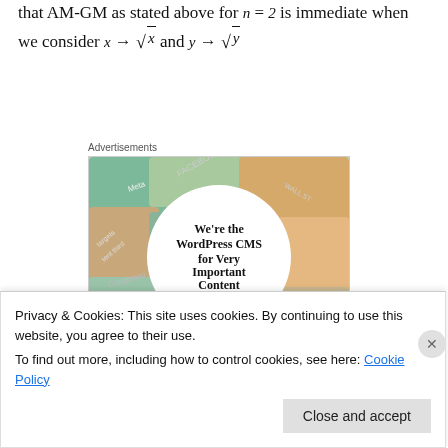that AM-GM as stated above for n = 2 is immediate when we consider x → √x and y → √y
[Figure (other): WordPress VIP advertisement banner showing colorful book/magazine covers with a central white circle containing the text 'We're the WordPress CMS for Very Important Content' with a WordPress VIP logo and 'Learn more →' button]
Privacy & Cookies: This site uses cookies. By continuing to use this website, you agree to their use.
To find out more, including how to control cookies, see here: Cookie Policy
Close and accept